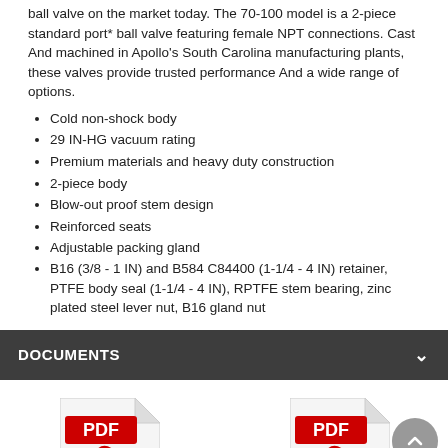ball valve on the market today. The 70-100 model is a 2-piece standard port* ball valve featuring female NPT connections. Cast And machined in Apollo's South Carolina manufacturing plants, these valves provide trusted performance And a wide range of options.
Cold non-shock body
29 IN-HG vacuum rating
Premium materials and heavy duty construction
2-piece body
Blow-out proof stem design
Reinforced seats
Adjustable packing gland
B16 (3/8 - 1 IN) and B584 C84400 (1-1/4 - 4 IN) retainer, PTFE body seal (1-1/4 - 4 IN), RPTFE stem bearing, zinc plated steel lever nut, B16 gland nut
DOCUMENTS
[Figure (other): PDF Adobe icon for Installation Instruction document]
Installation Instruction
[Figure (other): PDF Adobe icon for Specification document]
Specification
[Figure (other): PDF Adobe icon for a third document (partially visible)]